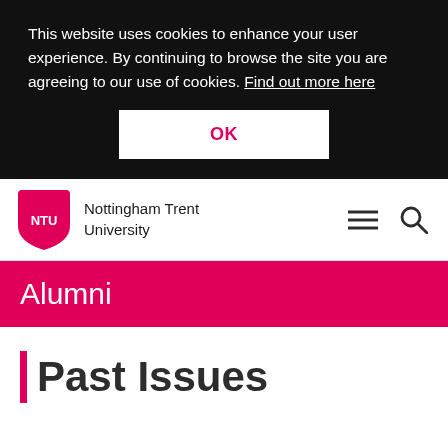This website uses cookies to enhance your user experience. By continuing to browse the site you are agreeing to our use of cookies. Find out more here
OK
[Figure (logo): Nottingham Trent University NTU shield logo in magenta/pink with white NTU text]
Nottingham Trent University
Alumni
Past Issues